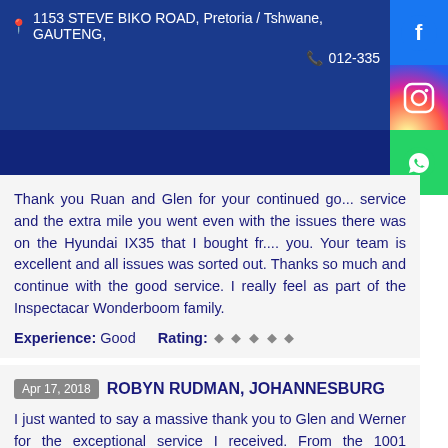📍 1153 STEVE BIKO ROAD, Pretoria / Tshwane, GAUTENG,
📞 012-335
Thank you Ruan and Glen for your continued go... service and the extra mile you went even with the issues there was on the Hyundai IX35 that I bought fr.... you. Your team is excellent and all issues was sorted out. Thanks so much and continue with the good service. I really feel as part of the Inspectacar Wonderboom family.
Experience: Good    Rating: ,,,,
Apr 17, 2018   ROBYN RUDMAN, JOHANNESBURG
I just wanted to say a massive thank you to Glen and Werner for the exceptional service I received. From the 1001 questions that were all answered with patience and honesty to the out-of-the-way delivery and test drive and making 100% sure that i had everything i needed, well